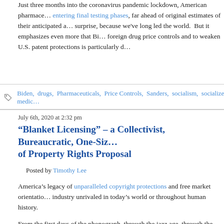Just three months into the coronavirus pandemic lockdown, American pharmace... entering final testing phases, far ahead of original estimates of their anticipated a... surprise, because we've long led the world.  But it emphasizes even more that Bi... foreign drug price controls and to weaken U.S. patent protections is particularly d...
Biden, drugs, Pharmaceuticals, Price Controls, Sanders, socialism, socialized medic...
July 6th, 2020 at 2:32 pm
“Blanket Licensing” – a Collectivist, Bureaucratic, One-Siz... of Property Rights Proposal
Posted by Timothy Lee
America’s legacy of unparalleled copyright protections and free market orientatio... industry unrivaled in today’s world or throughout human history.
From the first days of the phonograph, through the jazz age, through the rock era... country, through hip-hop and every other popular musical iteration since its adven... lead the world in the same manner in which we lead in such industries as cinema... We can thank our nation’s emphasis on strong copyright protections.
Unfortunately, that reality doesn’t deter some activists from periodically advocatin... governmental reordering of the music industry in a way that would deprive artists... rights.  Some advocates simply will not relent in their unceasing and misguided c... protections that have provided the wellspring for U.S. musical preeminence.  The... copyright protections and the freedom of market participants to mutually negotiat... obvious benefit, and replace them with a government-determined rate and a one-...